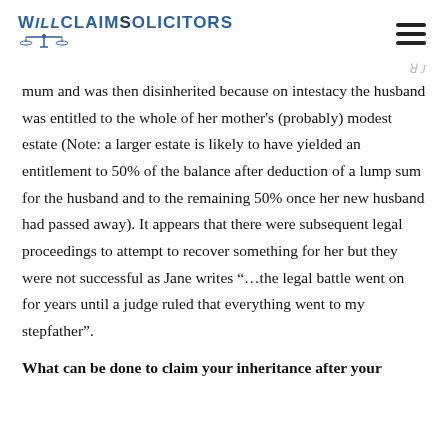WillclaimSolicitors
mum and was then disinherited because on intestacy the husband was entitled to the whole of her mother's (probably) modest estate (Note: a larger estate is likely to have yielded an entitlement to 50% of the balance after deduction of a lump sum for the husband and to the remaining 50% once her new husband had passed away). It appears that there were subsequent legal proceedings to attempt to recover something for her but they were not successful as Jane writes “...the legal battle went on for years until a judge ruled that everything went to my stepfather”.
What can be done to claim your inheritance after your